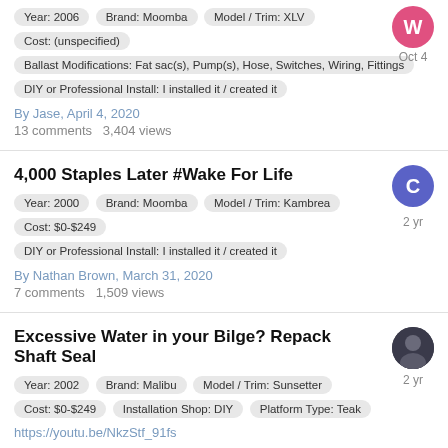Year: 2006 | Brand: Moomba | Model / Trim: XLV | Cost: (unspecified) | Ballast Modifications: Fat sac(s), Pump(s), Hose, Switches, Wiring, Fittings | DIY or Professional Install: I installed it / created it
By Jase, April 4, 2020
13 comments   3,404 views
4,000 Staples Later #Wake For Life | Year: 2000 | Brand: Moomba | Model / Trim: Kambrea | Cost: $0-$249 | DIY or Professional Install: I installed it / created it
By Nathan Brown, March 31, 2020
7 comments   1,509 views
Excessive Water in your Bilge? Repack Shaft Seal | Year: 2002 | Brand: Malibu | Model / Trim: Sunsetter | Cost: $0-$249 | Installation Shop: DIY | Platform Type: Teak
https://youtu.be/NkzStf_91fs
By My02Malibu, March 24, 2020
1 comment   1,751 views